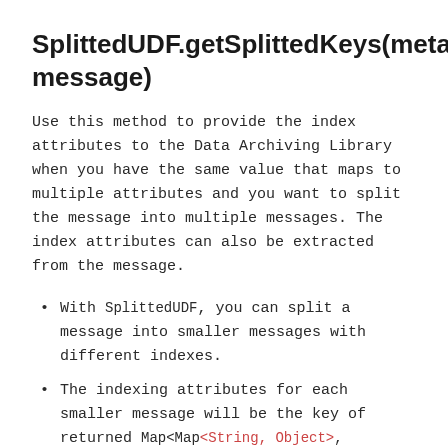SplittedUDF.getSplittedKeys(metadata, message)
Use this method to provide the index attributes to the Data Archiving Library when you have the same value that maps to multiple attributes and you want to split the message into multiple messages. The index attributes can also be extracted from the message.
With SplittedUDF, you can split a message into smaller messages with different indexes.
The indexing attributes for each smaller message will be the key of returned Map<Map<String, Object>, byte[]> with corresponding smaller